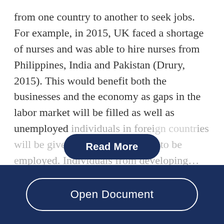from one country to another to seek jobs. For example, in 2015, UK faced a shortage of nurses and was able to hire nurses from Philippines, India and Pakistan (Drury, 2015). This would benefit both the businesses and the economy as gaps in the labor market will be filled as well as unemployed individuals in foreign countries will be given more opportunities to be employed. Individuals from developing...
[Figure (other): Dark blue 'Read More' button overlaid on faded text]
Open Document